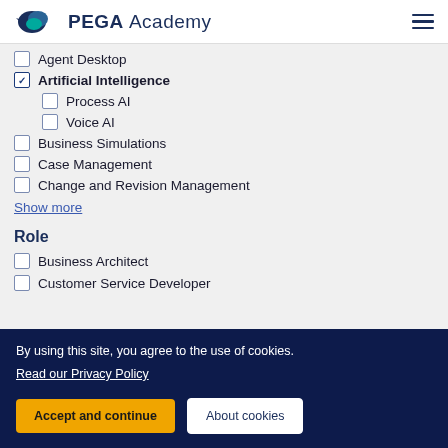PEGA Academy
Agent Desktop (unchecked)
Artificial Intelligence (checked)
Process AI (unchecked, indented)
Voice AI (unchecked, indented)
Business Simulations (unchecked)
Case Management (unchecked)
Change and Revision Management (unchecked)
Show more
Role
Business Architect (unchecked)
Customer Service Developer (unchecked, partially visible)
By using this site, you agree to the use of cookies.
Read our Privacy Policy
Accept and continue
About cookies